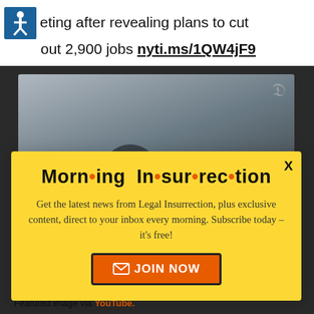eting after revealing plans to cut out 2,900 jobs nyti.ms/1QW4jF9
[Figure (photo): Person on a structure, with NYT logo watermark, dark image]
[Figure (screenshot): Morning Insurrection popup overlay with yellow background, title 'Morn·ing In·sur·rec·tion', subscription call to action, JOIN NOW button]
Read 2 comments
Back to Top
Featured image via YouTube.